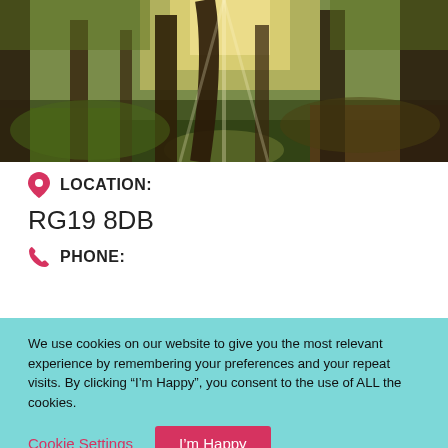[Figure (photo): Forest scene with sunlight filtering through autumn trees, light streaming through tall tree trunks, green and yellow foliage on the forest floor, panoramic landscape photo]
LOCATION:
RG19 8DB
PHONE:
We use cookies on our website to give you the most relevant experience by remembering your preferences and your repeat visits. By clicking “I’m Happy”, you consent to the use of ALL the cookies.
Cookie Settings
I’m Happy